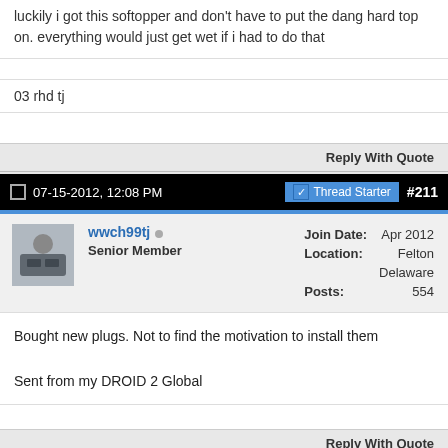luckily i got this softopper and don't have to put the dang hard top on. everything would just get wet if i had to do that
03 rhd tj
Reply With Quote
07-15-2012, 12:08 PM   Thread Starter   #211
wwch99tj   Senior Member   Join Date: Apr 2012   Location: Felton Delaware   Posts: 554
Bought new plugs. Not to find the motivation to install them

Sent from my DROID 2 Global
Reply With Quote
07-15-2012, 01:14 PM   Thread Starter   #212
wwch99tj   Senior Member   Join Date: Apr 2012   Location: Felton